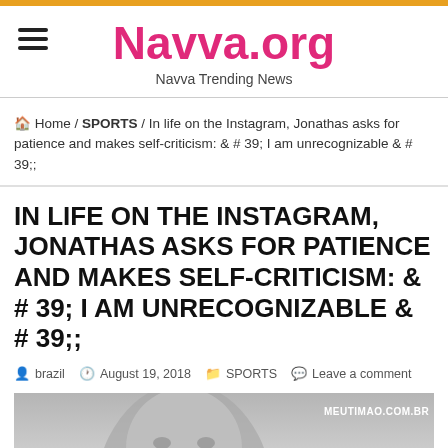Navva.org — Navva Trending News
Home / SPORTS / In life on the Instagram, Jonathas asks for patience and makes self-criticism: & # 39; I am unrecognizable & # 39;
IN LIFE ON THE INSTAGRAM, JONATHAS ASKS FOR PATIENCE AND MAKES SELF-CRITICISM: & # 39; I AM UNRECOGNIZABLE & # 39;
brazil   August 19, 2018   SPORTS   Leave a comment
[Figure (photo): Close-up photo of a person's face (Jonathas), grayscale/muted tones, with watermark MEUTIMAO.COM.BR in upper right]